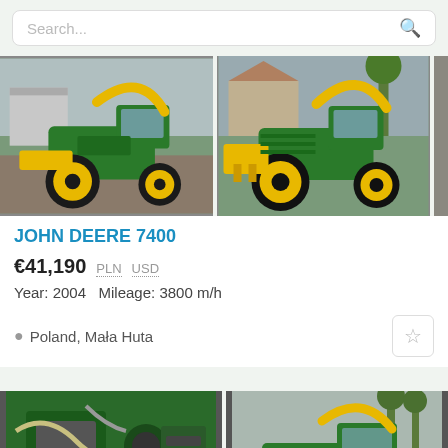Search...
[Figure (photo): John Deere 7400 forage harvester, green and yellow, left side view, outdoors on gravel]
[Figure (photo): John Deere 7400 forage harvester, green and yellow, front-right view, outdoors]
JOHN DEERE 7400
€41,190  PLN  USD
Year: 2004   Mileage: 3800 m/h
Poland, Mała Huta
[Figure (photo): Engine compartment interior, green John Deere engine with hoses and components visible, counter badge showing 2]
[Figure (photo): John Deere forage harvester partial view, side angle, green with yellow curved chute]